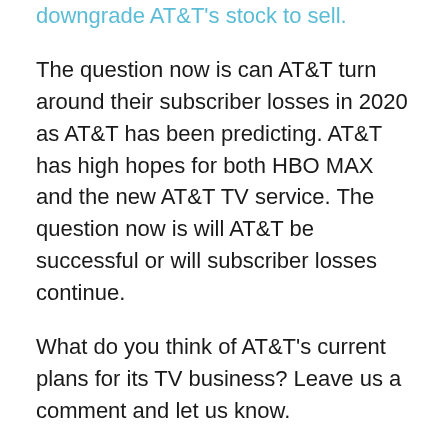downgrade AT&T's stock to sell.
The question now is can AT&T turn around their subscriber losses in 2020 as AT&T has been predicting. AT&T has high hopes for both HBO MAX and the new AT&T TV service. The question now is will AT&T be successful or will subscriber losses continue.
What do you think of AT&T's current plans for its TV business? Leave us a comment and let us know.
Please follow us on Facebook and Twitter for more news, tips, and reviews. Need cord cutting tech support? Join our Cord Cutting Tech Support